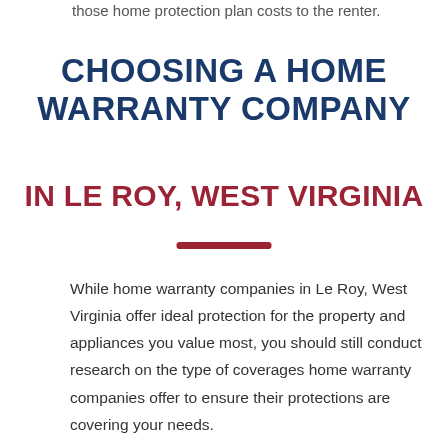those home protection plan costs to the renter.
CHOOSING A HOME WARRANTY COMPANY
IN LE ROY, WEST VIRGINIA
While home warranty companies in Le Roy, West Virginia offer ideal protection for the property and appliances you value most, you should still conduct research on the type of coverages home warranty companies offer to ensure their protections are covering your needs.